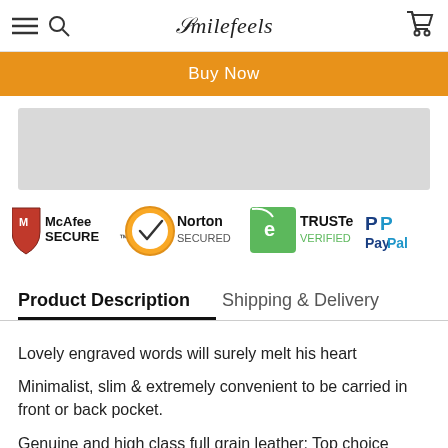Smilefeels
Buy Now
[Figure (other): Gray placeholder bar, likely an image or ad slot]
[Figure (infographic): Security trust badges: McAfee SECURE, Norton SECURED, TRUSTe VERIFIED, PayPal]
Product Description | Shipping & Delivery
Lovely engraved words will surely melt his heart
Minimalist, slim & extremely convenient to be carried in front or back pocket.
Genuine and high class full grain leather: Top choice